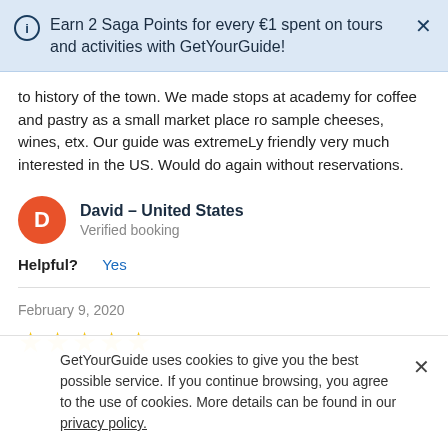Earn 2 Saga Points for every €1 spent on tours and activities with GetYourGuide!
to history of the town. We made stops at academy for coffee and pastry as a small market place ro sample cheeses, wines, etx. Our guide was extremeLy friendly very much interested in the US. Would do again without reservations.
David – United States
Verified booking
Helpful? Yes
February 9, 2020
[Figure (other): Five gold star rating]
GetYourGuide uses cookies to give you the best possible service. If you continue browsing, you agree to the use of cookies. More details can be found in our privacy policy.